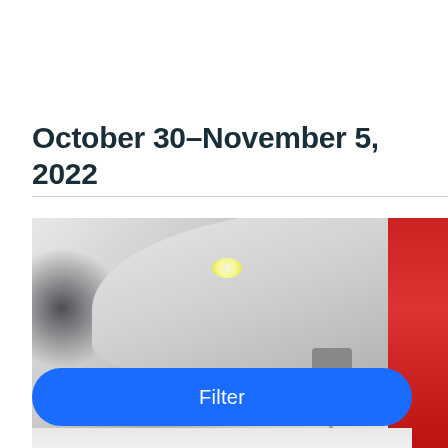October 30–November 5, 2022
[Figure (photo): Close-up photo of a sewing machine needle and presser foot area, with blurred background. A red fabric or object is partially visible on the right edge.]
Filter